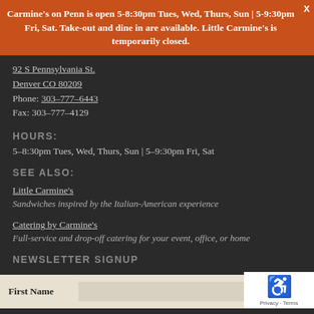Carmine's on Penn is open 5-8:30pm Tues, Wed, Thurs, Sun | 5-9:30pm Fri, Sat. Take-out and dine in are available. Little Carmine's is temporarily closed.
92 S Pennsylvania St.
Denver CO 80209
Phone: 303-777-6443
Fax: 303-777-4129
HOURS:
5-8:30pm Tues, Wed, Thurs, Sun | 5-9:30pm Fri, Sat
SEE ALSO:
Little Carmine's
Sandwiches inspired by the Italian-American experience
Catering by Carmine's
Full-service and drop-off catering for your event, office, or home
NEWSLETTER SIGNUP
First Name